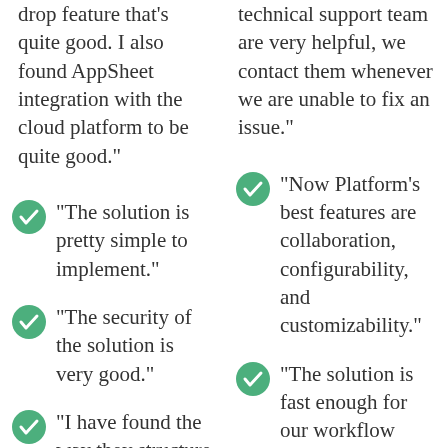drop feature that's quite good. I also found AppSheet integration with the cloud platform to be quite good."
"The solution is pretty simple to implement."
"The security of the solution is very good."
"I have found the way they structure
technical support team are very helpful, we contact them whenever we are unable to fix an issue."
"Now Platform's best features are collaboration, configurability, and customizability."
"The solution is fast enough for our workflow